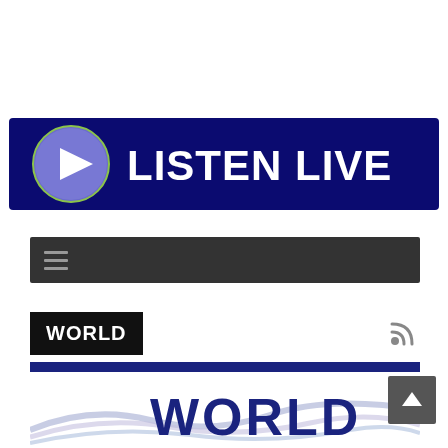[Figure (illustration): Dark navy blue banner with a blue circular play button icon on the left and bold white text reading LISTEN LIVE on the right]
[Figure (screenshot): Dark gray navigation bar with hamburger menu icon (three horizontal lines) on the left]
WORLD
[Figure (illustration): World news section bottom area with blue wave graphic and large dark navy WORLD text, plus a scroll-to-top button]